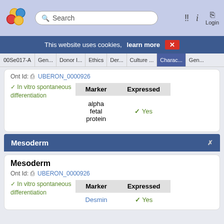[Figure (screenshot): Website navigation bar with logo, search box, and login button]
This website uses cookies, learn more X
00Se017-A  Gen...  Donor I...  Ethics  Der...  Culture ...  Charac...  Gen...
Ont Id: UBERON_0000926
✓ In vitro spontaneous differentiation
| Marker | Expressed |
| --- | --- |
| alpha fetal protein | ✓ Yes |
Mesoderm
Mesoderm
Ont Id: UBERON_0000926
✓ In vitro spontaneous differentiation
| Marker | Expressed |
| --- | --- |
| Desmin | ✓ Yes |